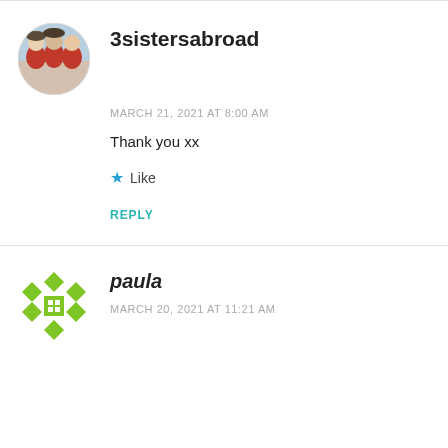[Figure (photo): Circular avatar photo of 3sistersabroad showing three women in red outdoors]
3sistersabroad
MARCH 21, 2021 AT 8:00 AM
Thank you xx
★ Like
REPLY
[Figure (logo): Green diamond/cross pattern avatar for user paula]
paula
MARCH 20, 2021 AT 11:21 AM